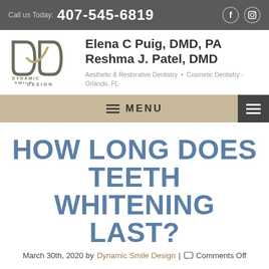Call us Today: 407-545-6819
[Figure (logo): Dynamic Smile Design logo with stylized D letters and text DYNAMIC SMILE DESIGN below]
Elena C Puig, DMD, PA
Reshma J. Patel, DMD
Aesthetic & Restorative Dentistry • Cosmetic Dentistry - Orlando, FL
≡ MENU
HOW LONG DOES TEETH WHITENING LAST?
March 30th, 2020 by Dynamic Smile Design | Comments Off